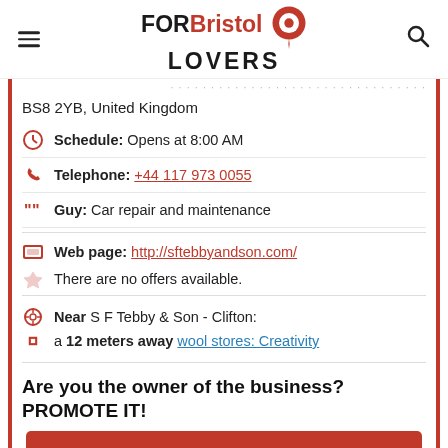FOR Bristol LOVERS
BS8 2YB, United Kingdom
Schedule: Opens at 8:00 AM
Telephone: +44 117 973 0055
Guy: Car repair and maintenance
Web page: http://sftebbyandson.com/
There are no offers available.
Near S F Tebby & Son - Clifton:
a 12 meters away wool stores: Creativity
Are you the owner of the business? PROMOTE IT!